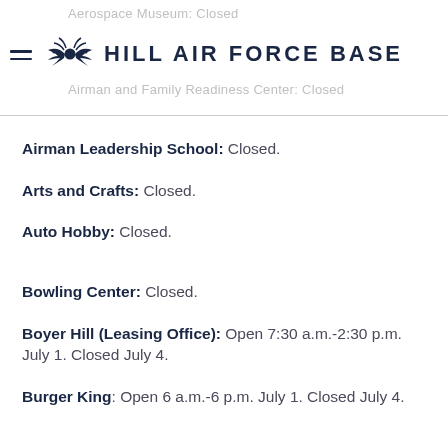Aerospace Museum: Closed
HILL AIR FORCE BASE
Airman and Family Readiness Center: Closed
Airman Leadership School: Closed.
Arts and Crafts: Closed.
Auto Hobby: Closed.
Bowling Center: Closed.
Boyer Hill (Leasing Office): Open 7:30 a.m.-2:30 p.m. July 1. Closed July 4.
Burger King: Open 6 a.m.-6 p.m. July 1. Closed July 4.
Chapel: Closed.